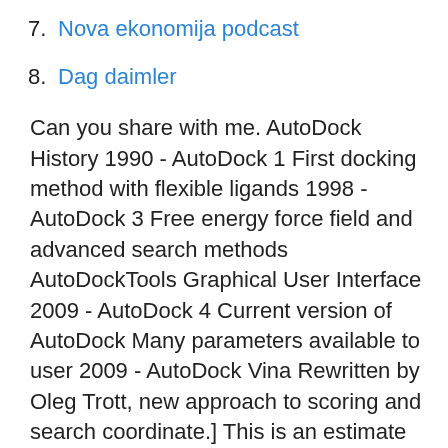7. Nova ekonomija podcast
8. Dag daimler
Can you share with me. AutoDock History 1990 - AutoDock 1 First docking method with flexible ligands 1998 - AutoDock 3 Free energy force field and advanced search methods AutoDockTools Graphical User Interface 2009 - AutoDock 4 Current version of AutoDock Many parameters available to user 2009 - AutoDock Vina Rewritten by Oleg Trott, new approach to scoring and search coordinate.] This is an estimate for the center of the active site and we will need that for Autodock. Save the Project if you have not already done so. We are going to move onto AutoDock but we will use Maestro for evaluating the docking results in the context of the